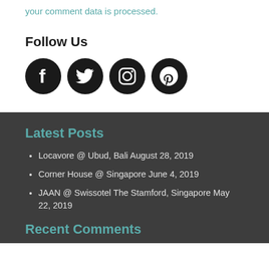your comment data is processed.
Follow Us
[Figure (illustration): Four social media icons: Facebook, Twitter, Instagram, Pinterest — black circular buttons]
Latest Posts
Locavore @ Ubud, Bali August 28, 2019
Corner House @ Singapore June 4, 2019
JAAN @ Swissotel The Stamford, Singapore May 22, 2019
Recent Comments